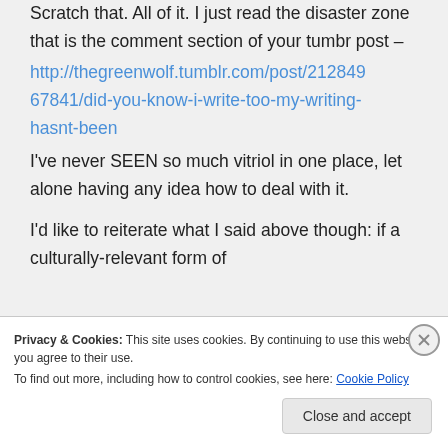Scratch that. All of it. I just read the disaster zone that is the comment section of your tumbr post – http://thegreenwolf.tumblr.com/post/21284967841/did-you-know-i-write-too-my-writing-hasnt-been I've never SEEN so much vitriol in one place, let alone having any idea how to deal with it.

I'd like to reiterate what I said above though: if a culturally-relevant form of
Privacy & Cookies: This site uses cookies. By continuing to use this website, you agree to their use.
To find out more, including how to control cookies, see here: Cookie Policy